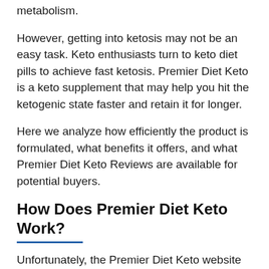metabolism.
However, getting into ketosis may not be an easy task. Keto enthusiasts turn to keto diet pills to achieve fast ketosis. Premier Diet Keto is a keto supplement that may help you hit the ketogenic state faster and retain it for longer.
Here we analyze how efficiently the product is formulated, what benefits it offers, and what Premier Diet Keto Reviews are available for potential buyers.
How Does Premier Diet Keto Work?
Unfortunately, the Premier Diet Keto website is a disappointment. The unprofessionally designed site